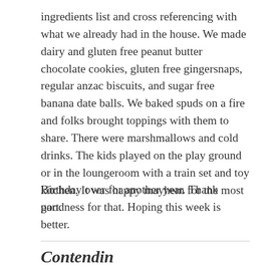ingredients list and cross referencing with what we already had in the house. We made dairy and gluten free peanut butter chocolate cookies, gluten free gingersnaps, regular anzac biscuits, and sugar free banana date balls. We baked spuds on a fire and folks brought toppings with them to share. There were marshmallows and cold drinks. The kids played on the play ground or in the loungeroom with a train set and toy kitchen. It was happy mayhem for the most part.
Birthday over for another year. Thank goodness for that. Hoping this week is better.
Contendin...